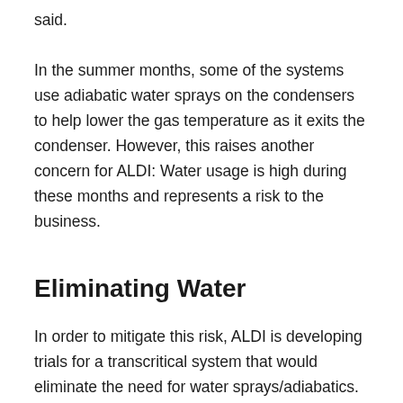said.
In the summer months, some of the systems use adiabatic water sprays on the condensers to help lower the gas temperature as it exits the condenser. However, this raises another concern for ALDI: Water usage is high during these months and represents a risk to the business.
Eliminating Water
In order to mitigate this risk, ALDI is developing trials for a transcritical system that would eliminate the need for water sprays/adiabatics. Though still in the